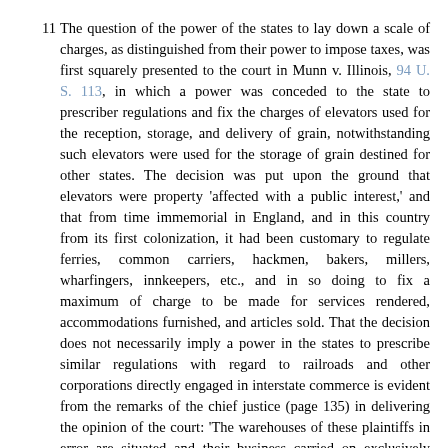The question of the power of the states to lay down a scale of charges, as distinguished from their power to impose taxes, was first squarely presented to the court in Munn v. Illinois, 94 U. S. 113, in which a power was conceded to the state to prescriber regulations and fix the charges of elevators used for the reception, storage, and delivery of grain, notwithstanding such elevators were used for the storage of grain destined for other states. The decision was put upon the ground that elevators were property 'affected with a public interest,' and that from time immemorial in England, and in this country from its first colonization, it had been customary to regulate ferries, common carriers, hackmen, bakers, millers, wharfingers, innkeepers, etc., and in so doing to fix a maximum of charge to be made for services rendered, accommodations furnished, and articles sold. That the decision does not necessarily imply a power in the states to prescribe similar regulations with regard to railroads and other corporations directly engaged in interstate commerce is evident from the remarks of the chief justice (page 135) in delivering the opinion of the court: 'The warehouses of these plaintiffs in error are situated and their business carried on exclusively within the limits of the state of Illinois. They are used as instruments by those engaged in state as well as those engaged in interstate commerce, but they are no more necessarily a part of commerce than the dray